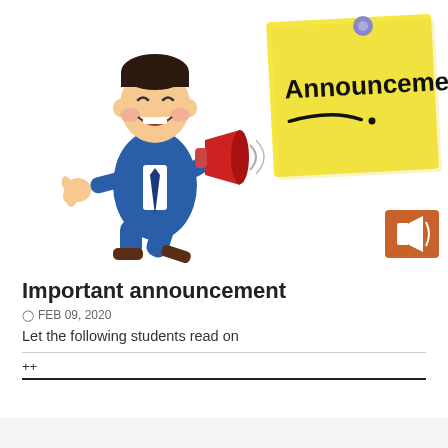[Figure (illustration): Cartoon man in blue suit holding a red megaphone next to a yellow sticky note with 'Announcement!' written on it and an orange speaker icon in the bottom right]
Important announcement
FEB 09, 2020
Let the following students read on
++